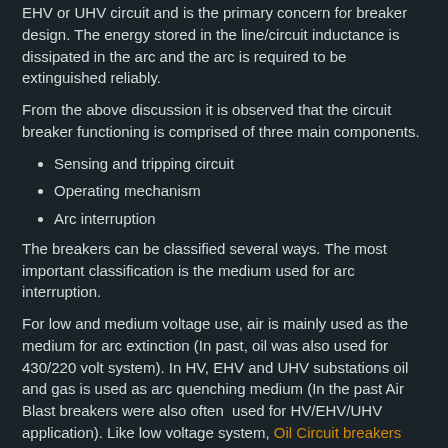EHV or UHV circuit and is the primary concern for breaker design. The energy stored in the line/circuit inductance is dissipated in the arc and the arc is required to be extinguished reliably.
From the above discussion it is observed that the circuit breaker functioning is comprised of three main components.
Sensing and tripping circuit
Operating mechanism
Arc interruption
The breakers can be classified several ways. The most important classification is the medium used for arc interruption.
For low and medium voltage use, air is mainly used as the medium for arc extinction (In past, oil was also used for 430/220 volt system). In HV, EHV and UHV substations oil and gas is used as arc quenching medium (In the past Air Blast breakers were also often used for HV/EHV/UHV application). Like low voltage system, Oil Circuit breakers are also becoming obsolete for higher voltage use. Vacuum is